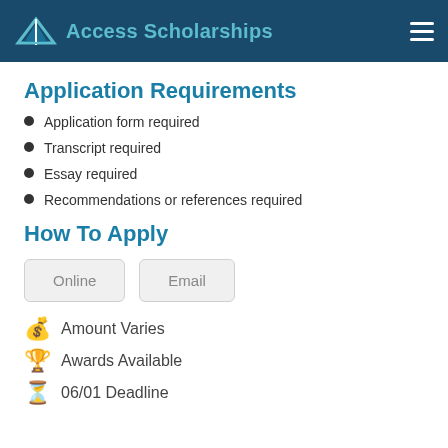Access Scholarships
Application Requirements
Application form required
Transcript required
Essay required
Recommendations or references required
How To Apply
Online
Email
Amount Varies
Awards Available
06/01 Deadline